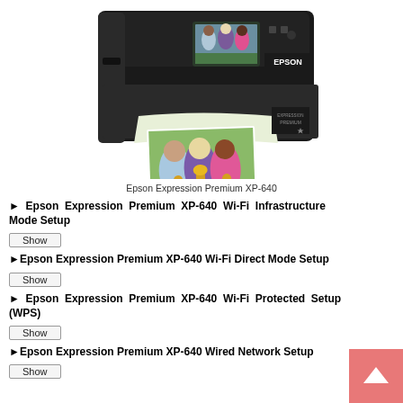[Figure (photo): Epson Expression Premium XP-640 printer with a photo of three girls being printed from it. The printer is black with a small LCD display showing the same photo.]
Epson Expression Premium XP-640
▶ Epson Expression Premium XP-640 Wi-Fi Infrastructure Mode Setup
Show
▶Epson Expression Premium XP-640 Wi-Fi Direct Mode Setup
Show
▶ Epson Expression Premium XP-640 Wi-Fi Protected Setup (WPS)
Show
▶Epson Expression Premium XP-640 Wired Network Setup
Show